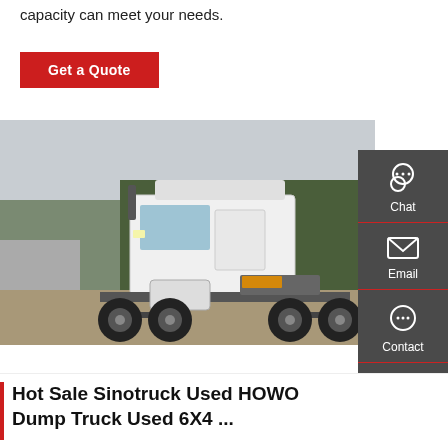capacity can meet your needs.
Get a Quote
[Figure (photo): A white Sinotruck HOWO tractor unit (6x4 configuration) parked on a concrete lot with trees in the background.]
Chat
Email
Contact
Top
Hot Sale Sinotruck Used HOWO Dump Truck Used 6X4 ...